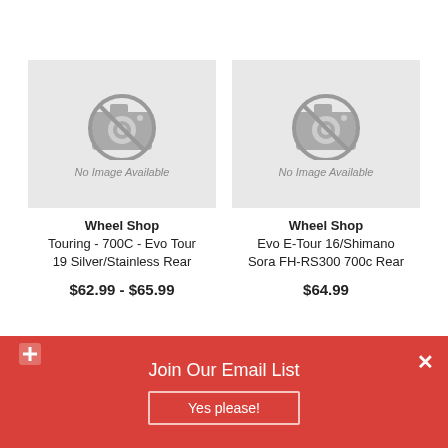[Figure (other): No Image Available placeholder for Wheel Shop Touring product]
Wheel Shop
Touring - 700C - Evo Tour 19 Silver/Stainless Rear
$62.99 - $65.99
[Figure (other): No Image Available placeholder for Wheel Shop Evo E-Tour product]
Wheel Shop
Evo E-Tour 16/Shimano Sora FH-RS300 700c Rear
$64.99
Join Our Email List
Yes please!